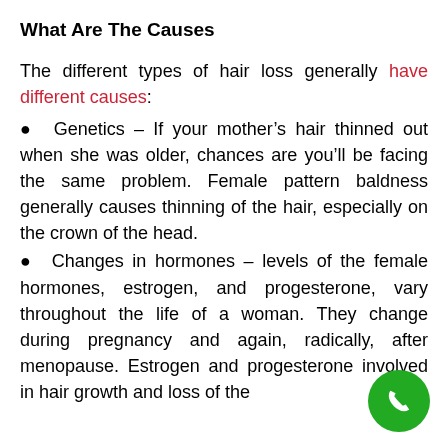What Are The Causes
The different types of hair loss generally have different causes:
Genetics – If your mother's hair thinned out when she was older, chances are you'll be facing the same problem. Female pattern baldness generally causes thinning of the hair, especially on the crown of the head.
Changes in hormones – levels of the female hormones, estrogen, and progesterone, vary throughout the life of a woman. They change during pregnancy and again, radically, after menopause. Estrogen and progesterone involved in hair growth and loss of the